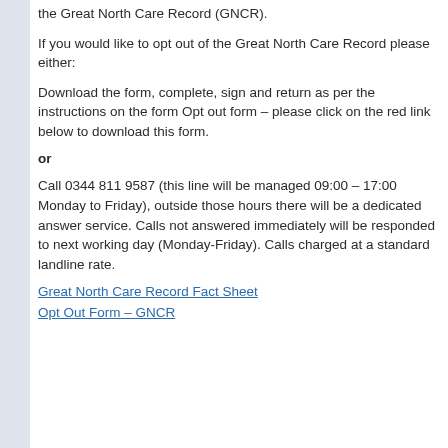the Great North Care Record (GNCR).
If you would like to opt out of the Great North Care Record please either:
Download the form, complete, sign and return as per the instructions on the form Opt out form – please click on the red link below to download this form.
or
Call 0344 811 9587 (this line will be managed 09:00 – 17:00 Monday to Friday), outside those hours there will be a dedicated answer service. Calls not answered immediately will be responded to next working day (Monday-Friday). Calls charged at a standard landline rate.
Great North Care Record Fact Sheet
Opt Out Form – GNCR